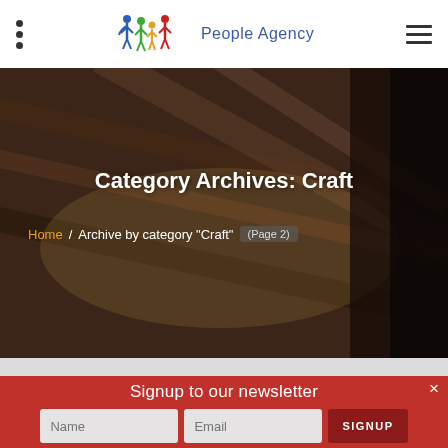[Figure (logo): People Agency logo with colorful human figures and blue text]
Category Archives: Craft
Home / Archive by category "Craft" (Page 2)
Signup to our newsletter
Name | Email | SIGNUP